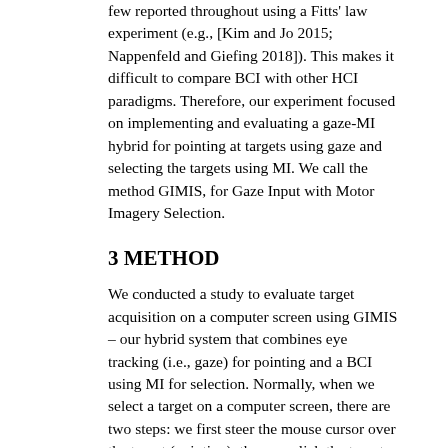few reported throughout using a Fitts' law experiment (e.g., [Kim and Jo 2015; Nappenfeld and Giefing 2018]). This makes it difficult to compare BCI with other HCI paradigms. Therefore, our experiment focused on implementing and evaluating a gaze-MI hybrid for pointing at targets using gaze and selecting the targets using MI. We call the method GIMIS, for Gaze Input with Motor Imagery Selection.
3 METHOD
We conducted a study to evaluate target acquisition on a computer screen using GIMIS – our hybrid system that combines eye tracking (i.e., gaze) for pointing and a BCI using MI for selection. Normally, when we select a target on a computer screen, there are two steps: we first steer the mouse cursor over the target (pointing), then we click the target (selection). For disabled users, mouse control may not be possible. Gaze can be used as an alternative to steer the mouse cursor to acquire the target. A click for selection is then executed when a brain signal generated by imagining a specific movement is detected by the electroencephalogram (EEG) classifier in the BCI.